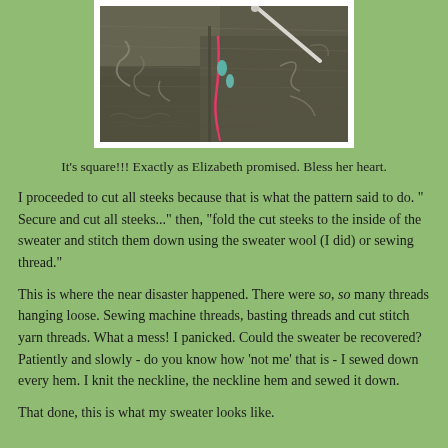[Figure (photo): Close-up photograph of a dark grey/brown knitted sweater fabric with steeks visible, showing a pink marker thread, teal/green stitch markers, and a knitting needle. The fabric is being worked with steek preparation visible.]
It's square!!! Exactly as Elizabeth promised. Bless her heart.
I proceeded to cut all steeks because that is what the pattern said to do. " Secure and cut all steeks..." then, "fold the cut steeks to the inside of the sweater and stitch them down using the sweater wool (I did) or sewing thread."
This is where the near disaster happened. There were so, so many threads hanging loose. Sewing machine threads, basting threads and cut stitch yarn threads. What a mess! I panicked. Could the sweater be recovered? Patiently and slowly - do you know how 'not me' that is - I sewed down every hem. I knit the neckline, the neckline hem and sewed it down.
That done, this is what my sweater looks like.